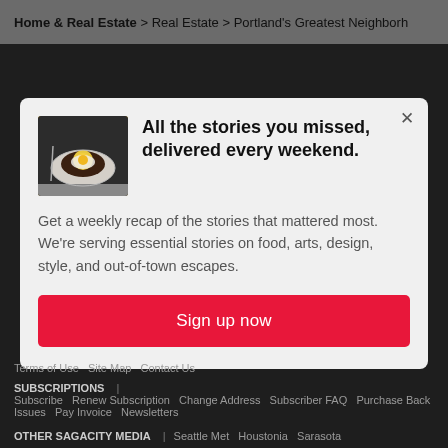Home & Real Estate > Real Estate > Portland's Greatest Neighborh
[Figure (photo): Food photo showing a plated dish, likely eggs benedict or similar brunch item]
All the stories you missed, delivered every weekend.
Get a weekly recap of the stories that mattered most. We're serving essential stories on food, arts, design, style, and out-of-town escapes.
Sign up now
Terms of Use   Site Map   Contact Us
SUBSCRIPTIONS | Subscribe   Renew Subscription   Change Address   Subscriber FAQ   Purchase Back Issues   Pay Invoice   Newsletters
OTHER SAGACITY MEDIA | Seattle Met   Houstonia   Sarasota